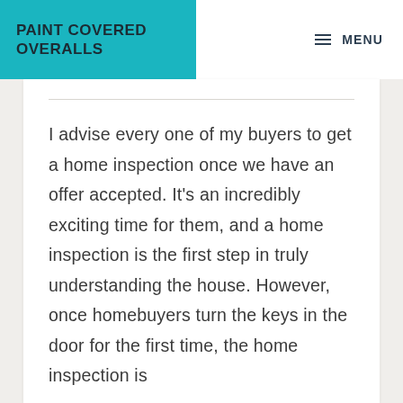PAINT COVERED OVERALLS
MENU
I advise every one of my buyers to get a home inspection once we have an offer accepted. It's an incredibly exciting time for them, and a home inspection is the first step in truly understanding the house. However, once homebuyers turn the keys in the door for the first time, the home inspection is